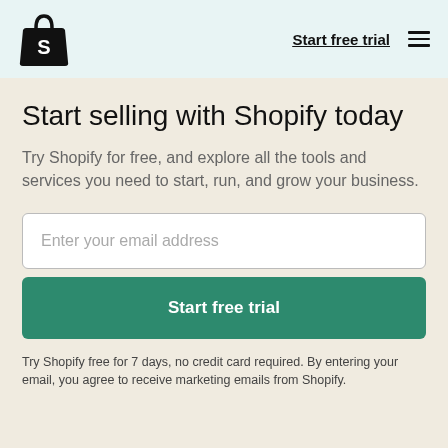[Figure (logo): Shopify logo: shopping bag with 'S' on it]
Start free trial
Start selling with Shopify today
Try Shopify for free, and explore all the tools and services you need to start, run, and grow your business.
Enter your email address
Start free trial
Try Shopify free for 7 days, no credit card required. By entering your email, you agree to receive marketing emails from Shopify.